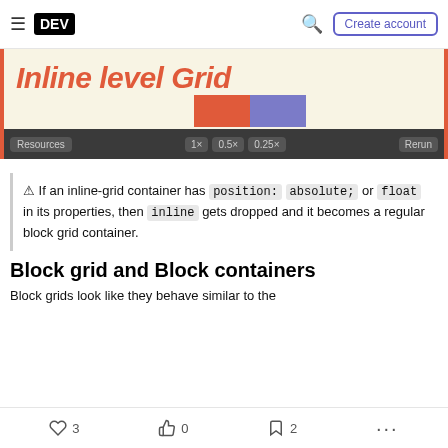DEV | Create account
[Figure (screenshot): Demo embed showing 'Inline level Grid' heading in red-orange italic bold text on a yellow background, with two colored bars (red and purple) partially visible, and a dark toolbar with buttons: Resources, 1x, 0.5x, 0.25x, Rerun]
⚠ If an inline-grid container has position: absolute; or float in its properties, then inline gets dropped and it becomes a regular block grid container.
Block grid and Block containers
Block grids look like they behave similar to the
♡ 3   〰 0   □ 2   ...